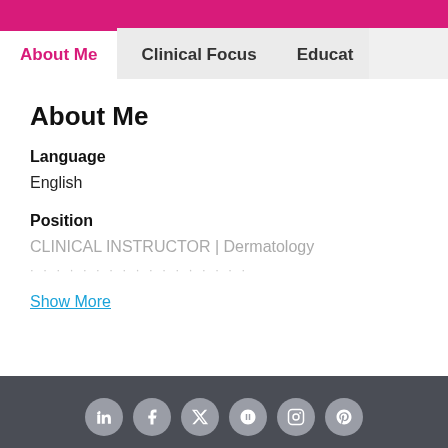About Me | Clinical Focus | Educat
About Me
Language
English
Position
CLINICAL INSTRUCTOR | Dermatology
Show More